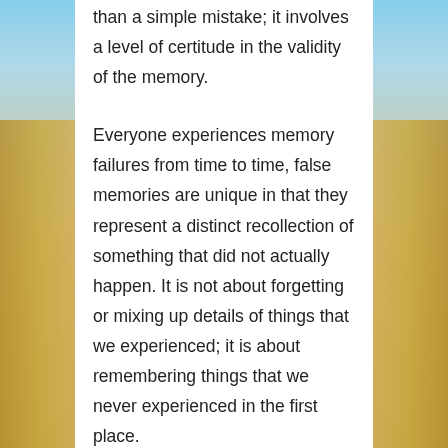than a simple mistake; it involves a level of certitude in the validity of the memory.
Everyone experiences memory failures from time to time, false memories are unique in that they represent a distinct recollection of something that did not actually happen. It is not about forgetting or mixing up details of things that we experienced; it is about remembering things that we never experienced in the first place.